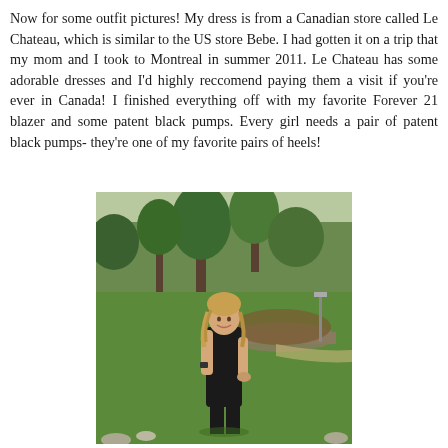Now for some outfit pictures! My dress is from a Canadian store called Le Chateau, which is similar to the US store Bebe. I had gotten it on a trip that my mom and I took to Montreal in summer 2011. Le Chateau has some adorable dresses and I'd highly reccomend paying them a visit if you're ever in Canada! I finished everything off with my favorite Forever 21 blazer and some patent black pumps. Every girl needs a pair of patent black pumps- they're one of my favorite pairs of heels!
[Figure (photo): A young woman with curly blonde hair wearing a black sleeveless dress, standing outdoors in a park-like setting with green grass, trees, and a low stone retaining wall in the background.]